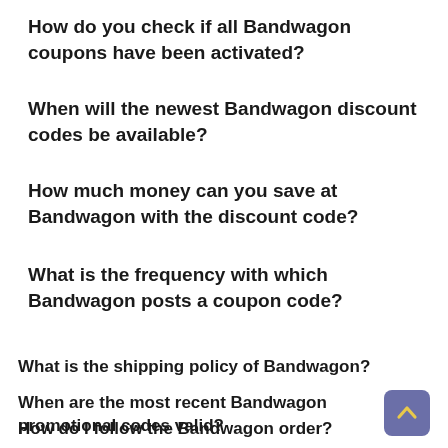How do you check if all Bandwagon coupons have been activated?
When will the newest Bandwagon discount codes be available?
How much money can you save at Bandwagon with the discount code?
What is the frequency with which Bandwagon posts a coupon code?
What is the shipping policy of Bandwagon?
When are the most recent Bandwagon promotional codes valid?
How do I follow the Bandwagon order?